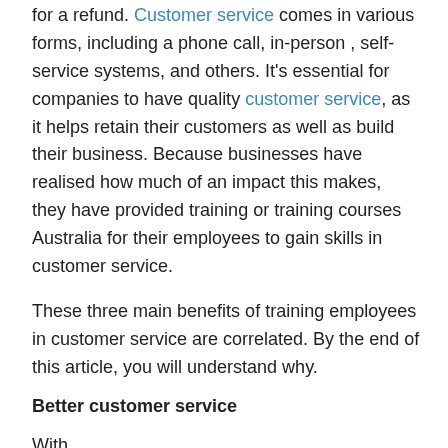for a refund. Customer service comes in various forms, including a phone call, in-person , self-service systems, and others. It's essential for companies to have quality customer service, as it helps retain their customers as well as build their business. Because businesses have realised how much of an impact this makes, they have provided training or training courses Australia for their employees to gain skills in customer service.
These three main benefits of training employees in customer service are correlated. By the end of this article, you will understand why.
Better customer service
With proper training, training courses you will be able to...